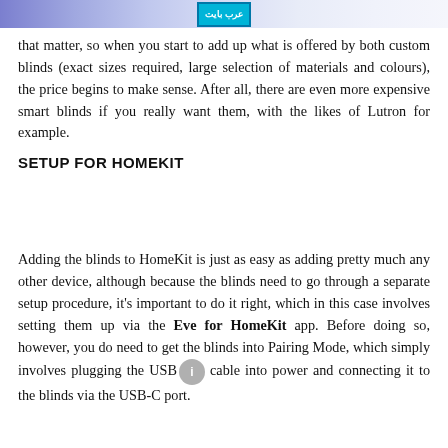عرب بايت logo
that matter, so when you start to add up what is offered by both custom blinds (exact sizes required, large selection of materials and colours), the price begins to make sense. After all, there are even more expensive smart blinds if you really want them, with the likes of Lutron for example.
SETUP FOR HOMEKIT
Adding the blinds to HomeKit is just as easy as adding pretty much any other device, although because the blinds need to go through a separate setup procedure, it's important to do it right, which in this case involves setting them up via the Eve for HomeKit app. Before doing so, however, you do need to get the blinds into Pairing Mode, which simply involves plugging the USB cable into power and connecting it to the blinds via the USB-C port.